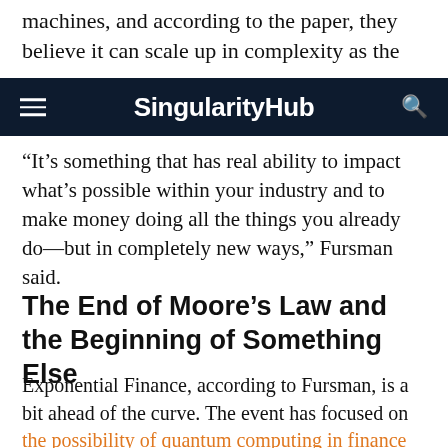machines, and according to the paper, they believe it can scale up in complexity as the
SingularityHub
“It’s something that has real ability to impact what’s possible within your industry and to make money doing all the things you already do—but in completely new ways,” Fursman said.
The End of Moore’s Law and the Beginning of Something Else
Exponential Finance, according to Fursman, is a bit ahead of the curve. The event has focused on the possibility of quantum computing in finance for the last several years.